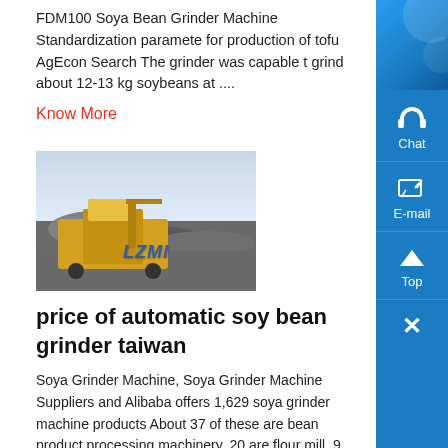FDM100 Soya Bean Grinder Machine Standardization parameters for production of tofu AgEcon Search The grinder was capable to grind about 12-13 kg soybeans at ....
Know More
[Figure (photo): Photo of a yellow industrial grinding/crushing machine on a rocky site outdoors with cloudy sky, with blue watermark text 'LZMI' on the image]
price of automatic soy bean grinder taiwan
Soya Grinder Machine, Soya Grinder Machine Suppliers and Alibaba offers 1,629 soya grinder machine products About 37 of these are bean product processing machinery, 20 are flour mill, 9 are grinding equipment A wide variety of soya grinder machine options are available to you, such as soybean machinery, bean curd machine Dapatkan ....